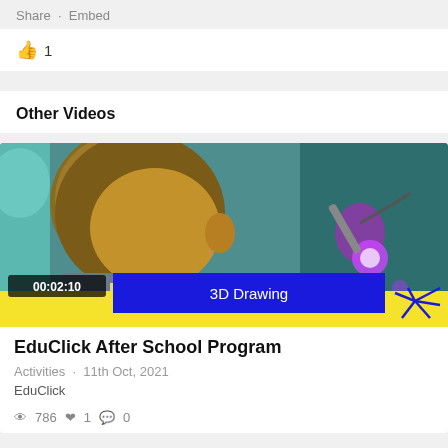Share · Embed
👍 1
Other Videos
[Figure (photo): Video thumbnail showing a child doing 3D Drawing activity. Timestamp 00:02:10 shown in bottom left. Blue banner with '3D Drawing' text. Yellow bar at bottom with blue star decoration.]
EduClick After School Program
Activities • 11th Oct, 2021
EduClick
👁 786 ❤ 1 💬 0